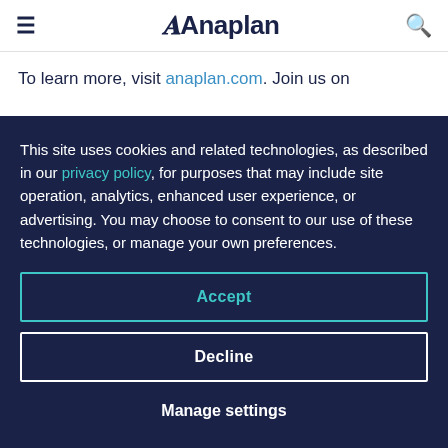Anaplan
To learn more, visit anaplan.com. Join us on twitter: @anaplan
Media Contact:
This site uses cookies and related technologies, as described in our privacy policy, for purposes that may include site operation, analytics, enhanced user experience, or advertising. You may choose to consent to our use of these technologies, or manage your own preferences.
Accept
Decline
Manage settings